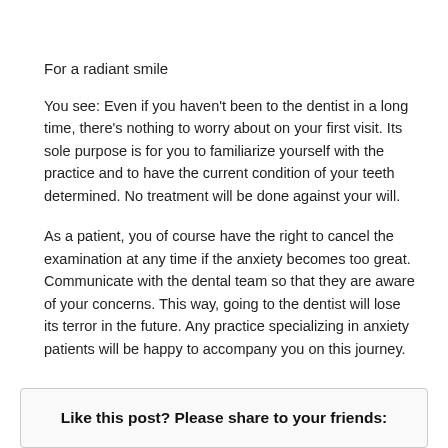For a radiant smile
You see: Even if you haven't been to the dentist in a long time, there's nothing to worry about on your first visit. Its sole purpose is for you to familiarize yourself with the practice and to have the current condition of your teeth determined. No treatment will be done against your will.
As a patient, you of course have the right to cancel the examination at any time if the anxiety becomes too great. Communicate with the dental team so that they are aware of your concerns. This way, going to the dentist will lose its terror in the future. Any practice specializing in anxiety patients will be happy to accompany you on this journey.
Like this post? Please share to your friends: